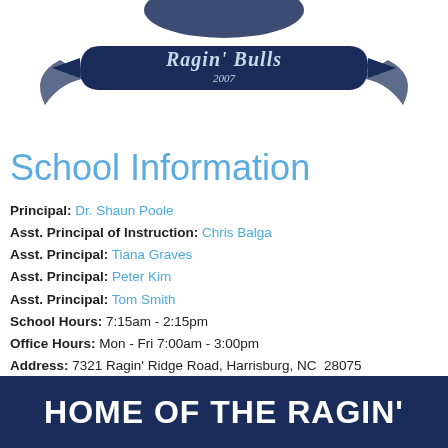[Figure (logo): School logo/mascot banner with 'Ragin' Bulls' text on a dark navy ribbon/banner graphic, with '2007' visible at top]
School Information
Principal: Dr. Shaun Poole
Asst. Principal of Instruction: Chris Balga
Asst. Principal: Tiana Graves
Asst. Principal: Peter Kim
Asst. Principal: Tom Smith
School Hours: 7:15am - 2:15pm
Office Hours: Mon - Fri 7:00am - 3:00pm
Address: 7321 Ragin' Ridge Road, Harrisburg, NC  28075
Phone: 704-260-6630
Fax: 704-260-6659
HOME OF THE RAGIN'